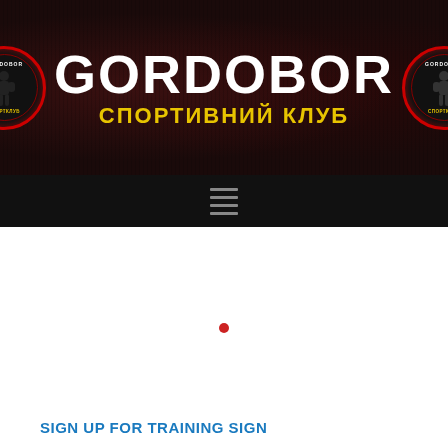[Figure (logo): Gordobor sports club header banner with two circular logos on left and right, large white GORDOBOR text in center, yellow Ukrainian subtitle СПОРТИВНИЙ КЛУБ, dark textured background]
[Figure (screenshot): Navigation bar with hamburger menu icon (three horizontal lines) on black background]
[Figure (other): White content area with a small red dot in the center]
SIGN UP FOR TRAINING SIGN